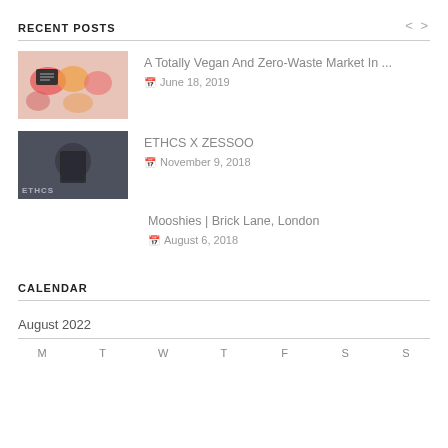RECENT POSTS
A Totally Vegan And Zero-Waste Market In ...
📅 June 18, 2019
ETHCS X ZESSOO
📅 November 9, 2018
Mooshies | Brick Lane, London
📅 August 6, 2018
CALENDAR
August 2022
| M | T | W | T | F | S | S |
| --- | --- | --- | --- | --- | --- | --- |